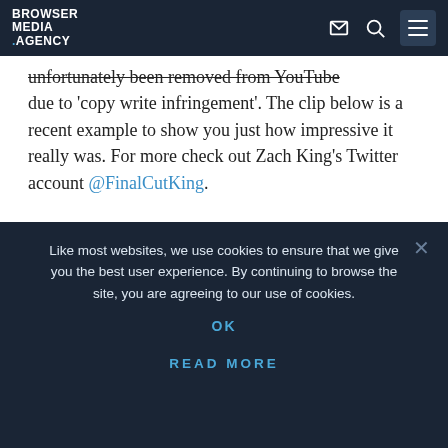BROWSER MEDIA .AGENCY
unfortunately been removed from YouTube due to 'copy write infringement'. The clip below is a recent example to show you just how impressive it really was. For more check out Zach King's Twitter account @FinalCutKing.
This is the ultimate way to make money with your filmmaking skills! https://t.co/4D6xMmcZQI
Like most websites, we use cookies to ensure that we give you the best user experience. By continuing to browse the site, you are agreeing to our use of cookies.
OK
READ MORE